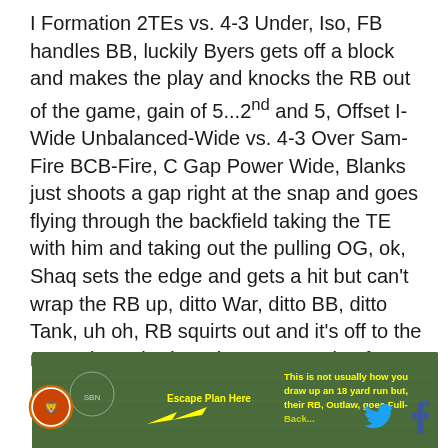I Formation 2TEs vs. 4-3 Under, Iso, FB handles BB, luckily Byers gets off a block and makes the play and knocks the RB out of the game, gain of 5...2nd and 5, Offset I-Wide Unbalanced-Wide vs. 4-3 Over Sam-Fire BCB-Fire, C Gap Power Wide, Blanks just shoots a gap right at the snap and goes flying through the backfield taking the TE with him and taking out the pulling OG, ok, Shaq sets the edge and gets a hit but can't wrap the RB up, ditto War, ditto BB, ditto Tank, uh oh, RB squirts out and it's off to the races, brought down by Green, gain of 18...
[Figure (photo): Football field screenshot showing a play diagram with yellow arrow labeled 'Escape Plan Here' and text on the right reading 'This is not usually how you draw up an 18 yard run but, their RB, Outlaw, goes Full-...']